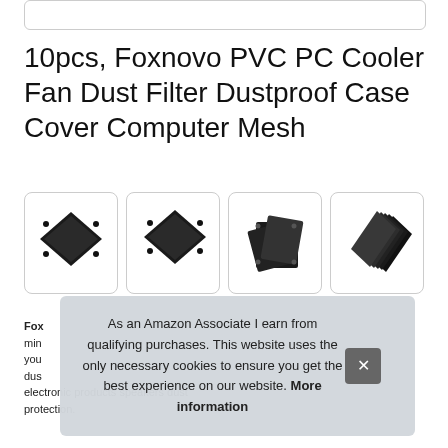10pcs, Foxnovo PVC PC Cooler Fan Dust Filter Dustproof Case Cover Computer Mesh
[Figure (photo): Four product images of black PVC PC cooler fan dust filter mesh covers, showing single flat filter, filter at angle, filter folded/stacked, and multiple filters stacked]
Foxnovo ... minimum ... your ... dust ... electronic products speakers dust protection.
As an Amazon Associate I earn from qualifying purchases. This website uses the only necessary cookies to ensure you get the best experience on our website. More information